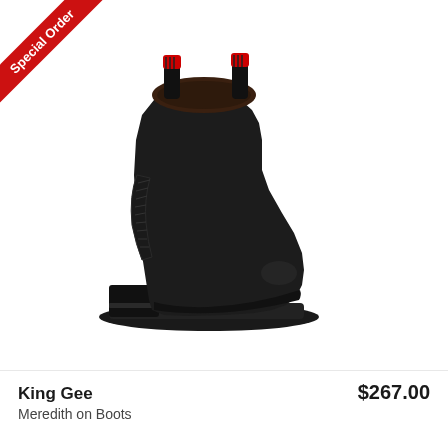[Figure (photo): Black leather Chelsea boot (King Gee brand) with elastic side panels, pull tabs with red and black striped fabric, and a low block heel. Shown on white background. A red 'Special Order' ribbon banner appears in the top-left corner.]
King Gee
$267.00
Meredith on Boots